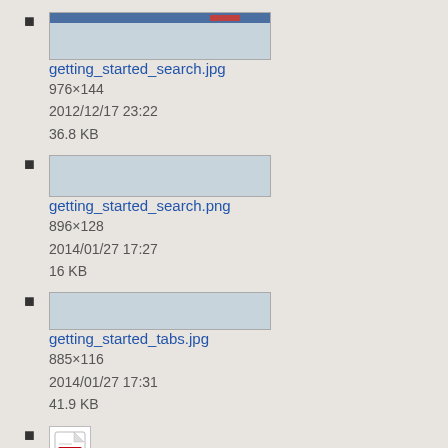getting_started_search.jpg
976×144
2012/12/17 23:22
36.8 KB
getting_started_search.png
896×128
2014/01/27 17:27
16 KB
getting_started_tabs.jpg
885×116
2014/01/27 17:31
41.9 KB
gogo_inflight_cdr_update.pdf

2013/03/28 16:56
232.6 KB